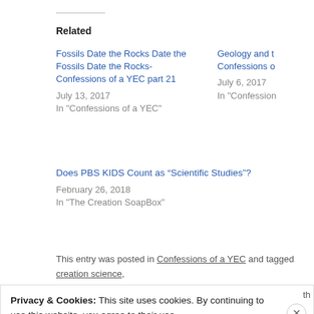Related
Fossils Date the Rocks Date the Fossils Date the Rocks- Confessions of a YEC part 21
July 13, 2017
In "Confessions of a YEC"
Geology and t... Confessions o...
July 6, 2017
In "Confession..."
Does PBS KIDS Count as “Scientific Studies”?
February 26, 2018
In "The Creation SoapBox"
This entry was posted in Confessions of a YEC and tagged creation science,. the permalink.
Privacy & Cookies: This site uses cookies. By continuing to use this website, you agree to their use.
To find out more, including how to control cookies, see here: Cookie Policy